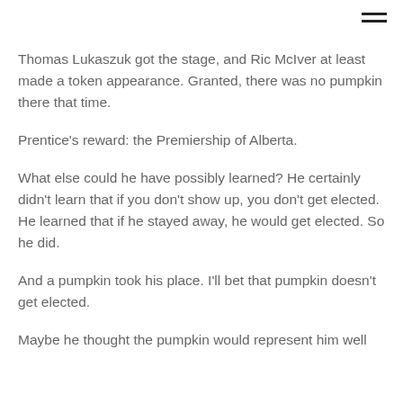Thomas Lukaszuk got the stage, and Ric McIver at least made a token appearance.  Granted, there was no pumpkin there that time.
Prentice's reward: the Premiership of Alberta.
What else could he have possibly learned?  He certainly didn't learn that if you don't show up, you don't get elected.  He learned that if he stayed away, he would get elected.  So he did.
And a pumpkin took his place.  I'll bet that pumpkin doesn't get elected.
Maybe he thought the pumpkin would represent him well